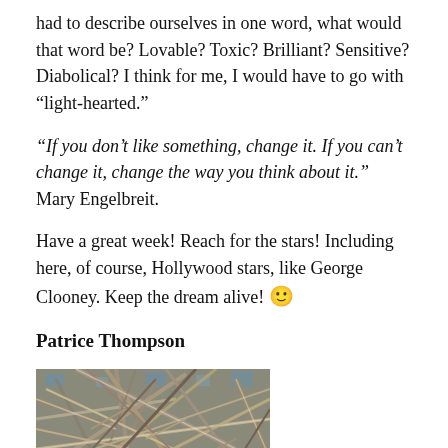had to describe ourselves in one word, what would that word be? Lovable? Toxic? Brilliant? Sensitive? Diabolical? I think for me, I would have to go with “light-hearted.”
“If you don’t like something, change it. If you can’t change it, change the way you think about it.” Mary Engelbreit.
Have a great week! Reach for the stars! Including here, of course, Hollywood stars, like George Clooney. Keep the dream alive! 🙂
Patrice Thompson
[Figure (photo): Close-up photograph of tangled, frost-covered or dried branches and twigs in muted grey, beige, and brown tones with hints of blue in the background.]